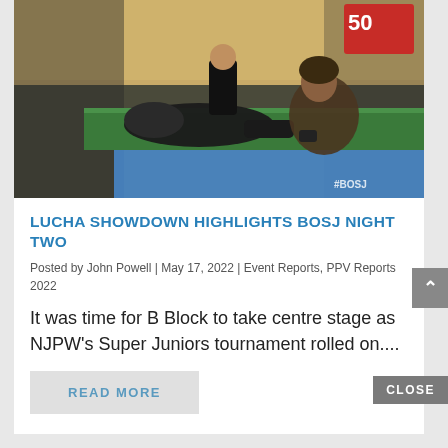[Figure (photo): Wrestling match photo showing two wrestlers near the ring apron at BOSJ (Best of Super Juniors) NJPW event. One wrestler in black gear is lying face down on the apron, while another wrestler leans against the corner. A referee in black shirt is attending. Crowd visible in background. #BOSJ watermark in bottom right.]
LUCHA SHOWDOWN HIGHLIGHTS BOSJ NIGHT TWO
Posted by John Powell | May 17, 2022 | Event Reports, PPV Reports 2022
It was time for B Block to take centre stage as NJPW's Super Juniors tournament rolled on....
READ MORE
CLOSE